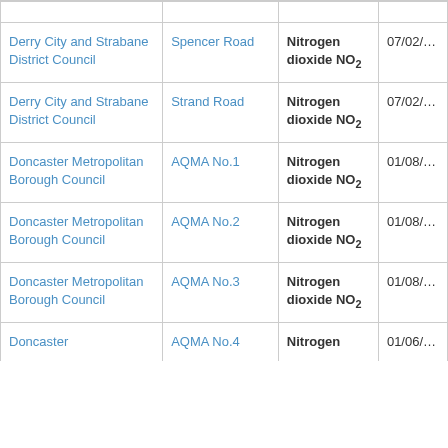| Council | AQMA Name | Pollutant | Date |
| --- | --- | --- | --- |
| Derry City and Strabane District Council | Spencer Road | Nitrogen dioxide NO2 | 07/02/… |
| Derry City and Strabane District Council | Strand Road | Nitrogen dioxide NO2 | 07/02/… |
| Doncaster Metropolitan Borough Council | AQMA No.1 | Nitrogen dioxide NO2 | 01/08/… |
| Doncaster Metropolitan Borough Council | AQMA No.2 | Nitrogen dioxide NO2 | 01/08/… |
| Doncaster Metropolitan Borough Council | AQMA No.3 | Nitrogen dioxide NO2 | 01/08/… |
| Doncaster | AQMA No.4 | Nitrogen | 01/06/… |